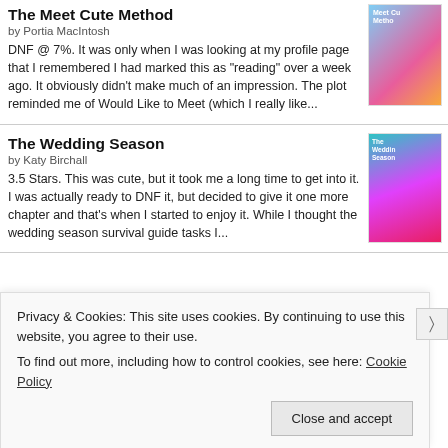The Meet Cute Method
by Portia MacIntosh
DNF @ 7%. It was only when I was looking at my profile page that I remembered I had marked this as "reading" over a week ago. It obviously didn't make much of an impression. The plot reminded me of Would Like to Meet (which I really like...
[Figure (illustration): Book cover of The Meet Cute Method]
The Wedding Season
by Katy Birchall
3.5 Stars. This was cute, but it took me a long time to get into it. I was actually ready to DNF it, but decided to give it one more chapter and that's when I started to enjoy it. While I thought the wedding season survival guide tasks I...
[Figure (illustration): Book cover of The Wedding Season]
Privacy & Cookies: This site uses cookies. By continuing to use this website, you agree to their use.
To find out more, including how to control cookies, see here: Cookie Policy
Close and accept